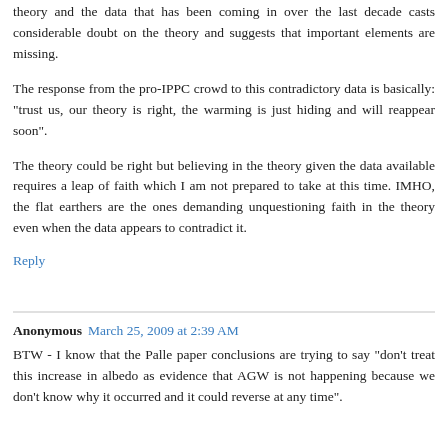theory and the data that has been coming in over the last decade casts considerable doubt on the theory and suggests that important elements are missing.
The response from the pro-IPPC crowd to this contradictory data is basically: "trust us, our theory is right, the warming is just hiding and will reappear soon".
The theory could be right but believing in the theory given the data available requires a leap of faith which I am not prepared to take at this time. IMHO, the flat earthers are the ones demanding unquestioning faith in the theory even when the data appears to contradict it.
Reply
Anonymous March 25, 2009 at 2:39 AM
BTW - I know that the Palle paper conclusions are trying to say "don't treat this increase in albedo as evidence that AGW is not happening because we don't know why it occurred and it could reverse at any time".